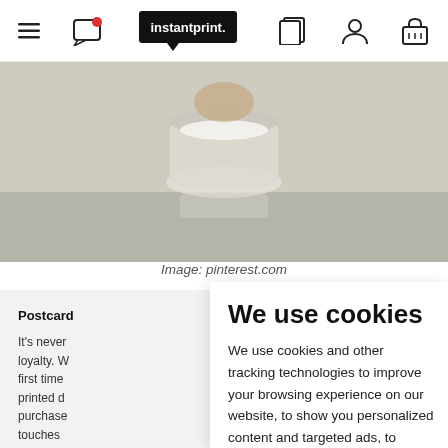instantprint. navigation bar with hamburger menu, chat, logo, pages, account, and basket icons
[Figure (photo): Partial photo of a glass jar with white substance, on a reflective grey surface, cut off at top]
Image: pinterest.com
Postcard
It's never loyalty. W first time printed d purchase touches company
We use cookies
We use cookies and other tracking technologies to improve your browsing experience on our website, to show you personalized content and targeted ads, to analyze our website traffic, and to understand where our visitors are coming from.